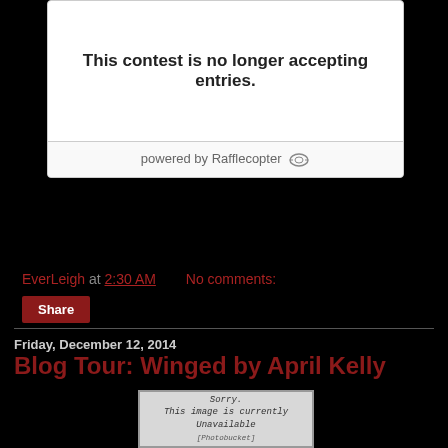[Figure (screenshot): Rafflecopter contest widget showing 'This contest is no longer accepting entries.' with 'powered by Rafflecopter' at the bottom]
EverLeigh at 2:30 AM   No comments:
Share
Friday, December 12, 2014
Blog Tour: Winged by April Kelly
[Figure (screenshot): Image unavailable placeholder from Photobucket showing 'Sorry. This image is currently Unavailable']